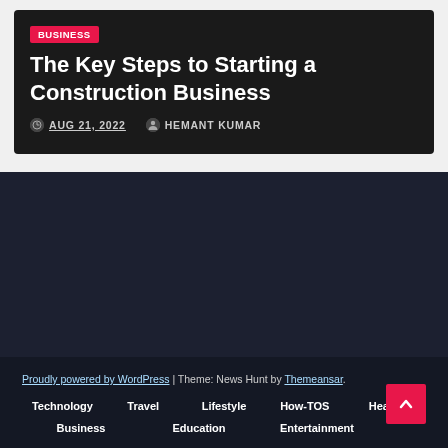BUSINESS
The Key Steps to Starting a Construction Business
AUG 21, 2022   HEMANT KUMAR
Proudly powered by WordPress | Theme: News Hunt by Themeansar. Technology   Travel   Lifestyle   How-TOS   Health   Business   Education   Entertainment